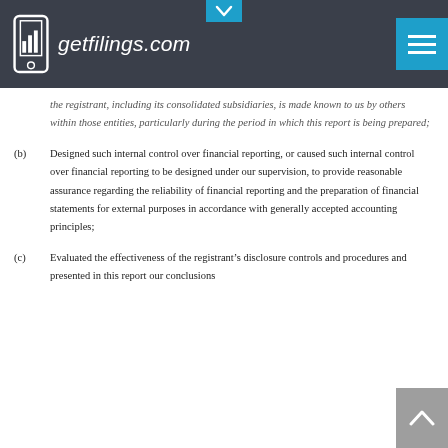getfilings.com
the registrant, including its consolidated subsidiaries, is made known to us by others within those entities, particularly during the period in which this report is being prepared;
(b) Designed such internal control over financial reporting, or caused such internal control over financial reporting to be designed under our supervision, to provide reasonable assurance regarding the reliability of financial reporting and the preparation of financial statements for external purposes in accordance with generally accepted accounting principles;
(c) Evaluated the effectiveness of the registrant’s disclosure controls and procedures and presented in this report our conclusions